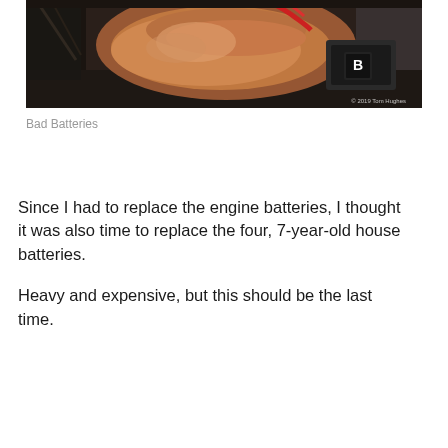[Figure (photo): A close-up photograph of a person's hand working on or touching what appears to be a car/vehicle battery, with red wires/cables visible. A watermark reads '© 2019 Tom Hughes' in the lower right corner.]
Bad Batteries
Since I had to replace the engine batteries, I thought it was also time to replace the four, 7-year-old house batteries.
Heavy and expensive, but this should be the last time.